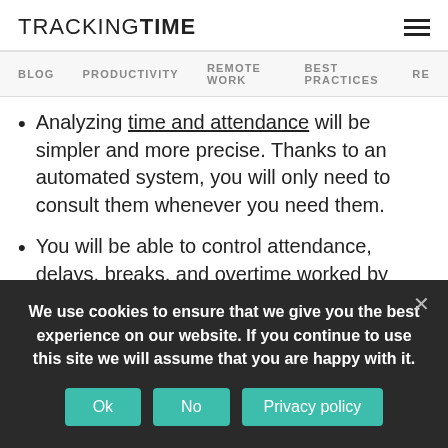TRACKINGTIME
BLOG   PRODUCTIVITY   REMOTE WORK   BEST PRACTICES   RE
Analyzing time and attendance will be simpler and more precise. Thanks to an automated system, you will only need to consult them whenever you need them.
You will be able to control attendance, delays, breaks, and overtime worked by your employees.
We use cookies to ensure that we give you the best experience on our website. If you continue to use this site we will assume that you are happy with it.